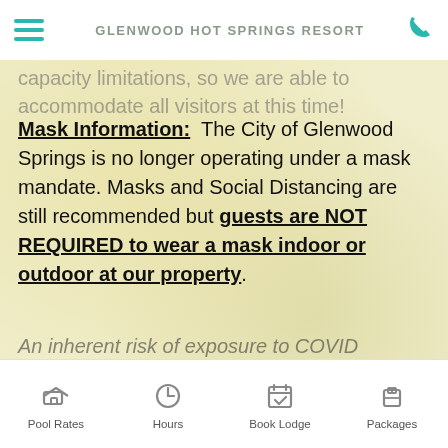GLENWOOD HOT SPRINGS RESORT
capacity limitations, so we are able to accommodate all visitors at this time!
Mask Information: The City of Glenwood Springs is no longer operating under a mask mandate. Masks and Social Distancing are still recommended but guests are NOT REQUIRED to wear a mask indoor or outdoor at our property.
An inherent risk of exposure to COVID
Pool Rates  Hours  Book Lodge  Packages